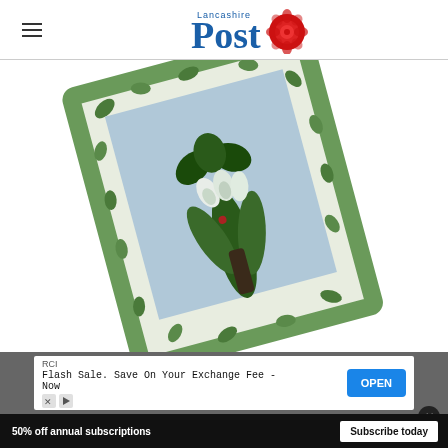Lancashire Post
[Figure (photo): A greeting card with a decorative green ivy border and a 3D ceramic or resin brooch of snowdrops with green leaves mounted on a light blue background, photographed at an angle on a white surface.]
RCI
Flash Sale. Save On Your Exchange Fee - Now
OPEN
50% off annual subscriptions  Subscribe today